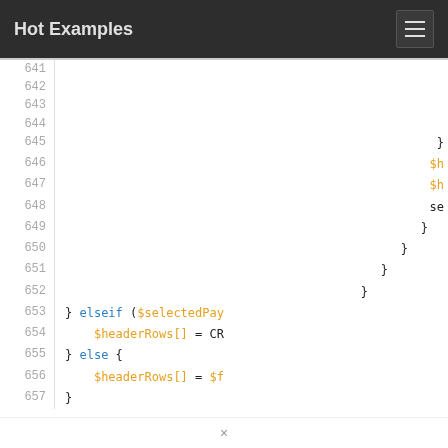Hot Examples
[Figure (screenshot): Code viewer showing PHP code lines 641–657 with syntax highlighting. Lines 641–644 are blank. Line 645 shows closing brace }. Lines 646–647 show $h… (orange, truncated). Line 648 shows se… (black, truncated). Line 649 shows } (black). Line 650 shows } (black). Line 651 shows } (black). Line 652 shows } (black). Line 653 shows } elseif ($selectedPay… (blue/orange, truncated). Line 654 shows $headerRows[] = CR… (orange/black, truncated). Line 655 shows } else { (blue/black). Line 656 shows $headerRows[] = $f… (orange, truncated). Line 657 shows } (black).]
×